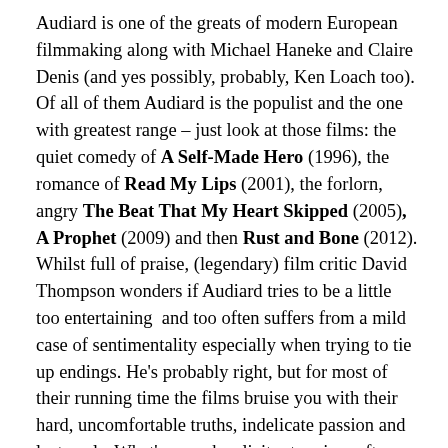Audiard is one of the greats of modern European filmmaking along with Michael Haneke and Claire Denis (and yes possibly, probably, Ken Loach too). Of all of them Audiard is the populist and the one with greatest range – just look at those films: the quiet comedy of A Self-Made Hero (1996), the romance of Read My Lips (2001), the forlorn, angry The Beat That My Heart Skipped (2005), A Prophet (2009) and then Rust and Bone (2012). Whilst full of praise, (legendary) film critic David Thompson wonders if Audiard tries to be a little too entertaining  and too often suffers from a mild case of sentimentality especially when trying to tie up endings. He's probably right, but for most of their running time the films bruise you with their hard, uncomfortable truths, indelicate passion and lost souls. What's more he elicits stunning, often extraordinary performances from his actors every time; or is it perhaps that, like Woody Allen, he has the uncanny knack of choosing his actors perfectly.